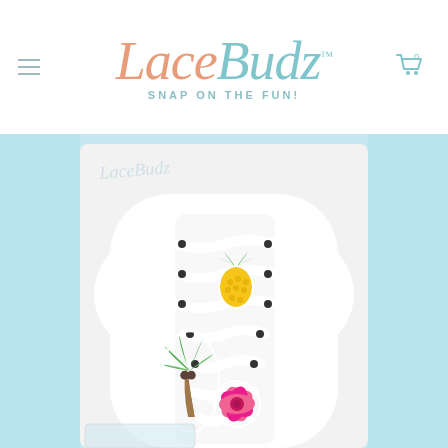LaceBudz™ — SNAP ON THE FUN!
[Figure (photo): White sneaker with tropical-themed LaceBudz charms attached to the shoelaces: a pineapple charm, a palm tree charm, and a pink hibiscus flower charm, on a light blue background with the LaceBudz logo watermark]